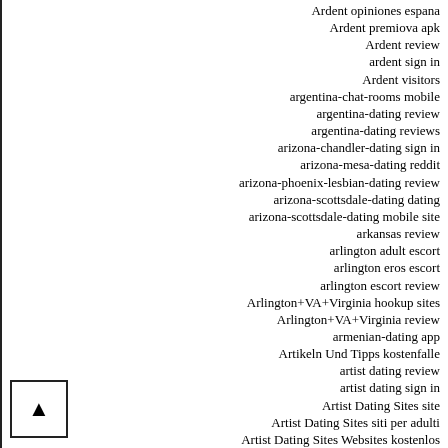Ardent opiniones espana
Ardent premiova apk
Ardent review
ardent sign in
Ardent visitors
argentina-chat-rooms mobile
argentina-dating review
argentina-dating reviews
arizona-chandler-dating sign in
arizona-mesa-dating reddit
arizona-phoenix-lesbian-dating review
arizona-scottsdale-dating dating
arizona-scottsdale-dating mobile site
arkansas review
arlington adult escort
arlington eros escort
arlington escort review
Arlington+VA+Virginia hookup sites
Arlington+VA+Virginia review
armenian-dating app
Artikeln Und Tipps kostenfalle
artist dating review
artist dating sign in
Artist Dating Sites site
Artist Dating Sites siti per adulti
Artist Dating Sites Websites kostenlos
Artist free dating websites
artist dating and Dating...